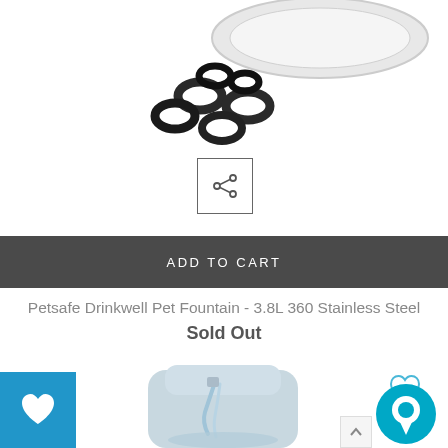[Figure (photo): Product photo showing a round plate/bowl with black ring accessories scattered below it on white background]
[Figure (other): Share/link icon inside a square border]
ADD TO CART
Petsafe Drinkwell Pet Fountain - 3.8L 360 Stainless Steel
Sold Out
[Figure (photo): Gray pet water fountain with flowing water spout]
[Figure (other): Heart outline wishlist icon in blue/teal top right]
[Figure (other): Teal chat bubble icon bottom right]
[Figure (other): Blue square with white heart icon bottom left]